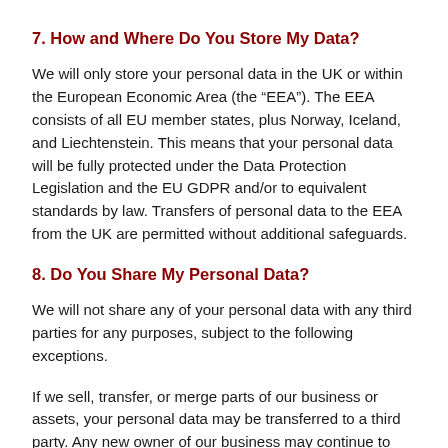7. How and Where Do You Store My Data?
We will only store your personal data in the UK or within the European Economic Area (the “EEA”). The EEA consists of all EU member states, plus Norway, Iceland, and Liechtenstein. This means that your personal data will be fully protected under the Data Protection Legislation and the EU GDPR and/or to equivalent standards by law. Transfers of personal data to the EEA from the UK are permitted without additional safeguards.
8. Do You Share My Personal Data?
We will not share any of your personal data with any third parties for any purposes, subject to the following exceptions.
If we sell, transfer, or merge parts of our business or assets, your personal data may be transferred to a third party. Any new owner of our business may continue to use your personal data in the same way that we have used it